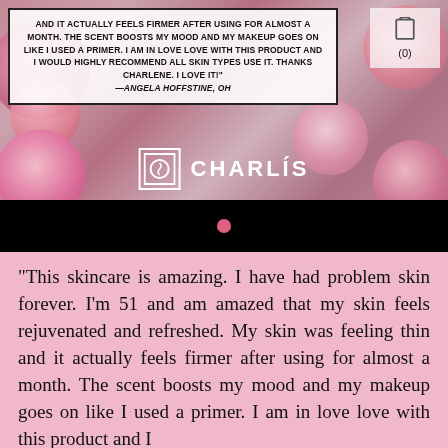[Figure (screenshot): Website banner with floral (roses) background, a white-bordered testimonial text box overlay, a cart icon area top right, and the Charlis brand logo centered at the bottom of the banner.]
AND IT ACTUALLY FEELS FIRMER AFTER USING FOR ALMOST A MONTH. THE SCENT BOOSTS MY MOOD AND MY MAKEUP GOES ON LIKE I USED A PRIMER. I AM IN LOVE LOVE WITH THIS PRODUCT AND I WOULD HIGHLY RECOMMEND ALL SKIN TYPES USE IT. THANKS CHARLENE. I LOVE IT! —Angela Hoffstine, OH
“This skincare is amazing. I have had problem skin forever. I’m 51 and am amazed that my skin feels rejuvenated and refreshed. My skin was feeling thin and it actually feels firmer after using for almost a month. The scent boosts my mood and my makeup goes on like I used a primer. I am in love love with this product and I